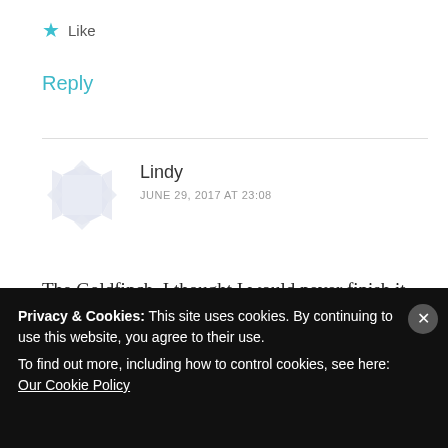★ Like
Reply
Lindy
JUNE 29, 2017 AT 23:08
The Goldfinch. I thought I would never finish it. The story seemed to wander aimlessly and by the end, I didn't care what happened to any of the
Privacy & Cookies: This site uses cookies. By continuing to use this website, you agree to their use.
To find out more, including how to control cookies, see here: Our Cookie Policy
Close and accept